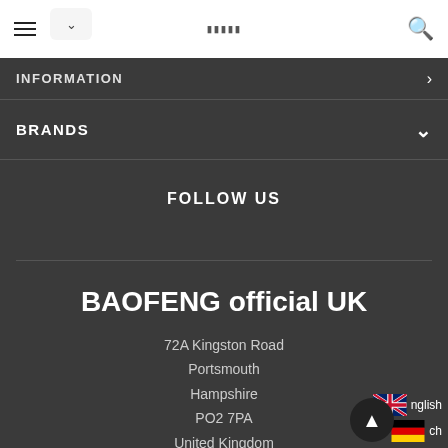INFORMATION
BRANDS
FOLLOW US
BAOFENG official UK
72A Kingston Road
Portsmouth
Hampshire
PO2 7PA
United Kingdom